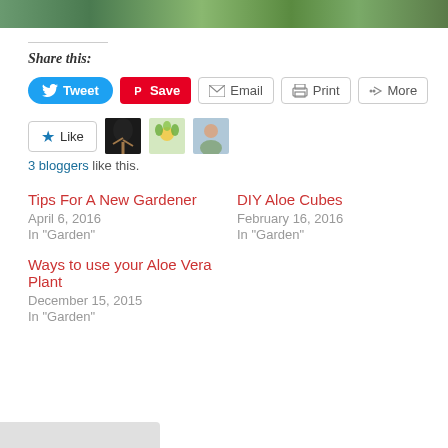[Figure (photo): Top strip showing garden/plant photograph]
Share this:
[Figure (infographic): Social share buttons: Tweet, Save, Email, Print, More]
[Figure (infographic): Like button with 3 blogger avatars]
3 bloggers like this.
Tips For A New Gardener
April 6, 2016
In "Garden"
DIY Aloe Cubes
February 16, 2016
In "Garden"
Ways to use your Aloe Vera Plant
December 15, 2015
In "Garden"